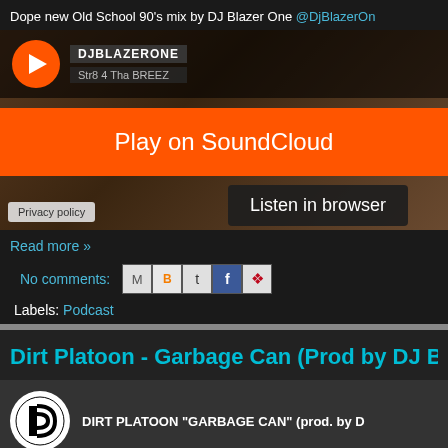Dope new Old School 90's mix by DJ Blazer One @DjBlazerOn
[Figure (screenshot): SoundCloud embed player for DJBLAZERONE track with orange 'Play on SoundCloud' banner and 'Listen in browser' button and Privacy policy link]
Read more »
No comments:
Labels: Podcast
Dirt Platoon - Garbage Can (Prod by DJ Bra
[Figure (screenshot): SoundCloud embed player for DIRT PLATOON 'GARBAGE CAN' (prod. by D with circular logo]